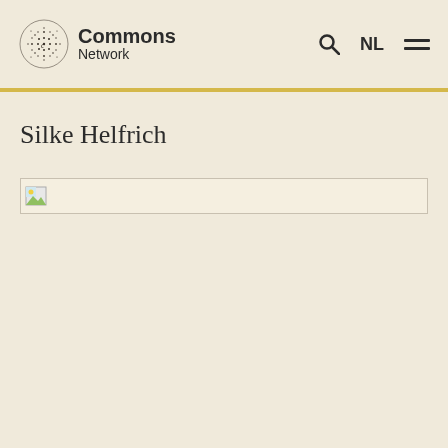Commons Network
Silke Helfrich
[Figure (photo): Broken image placeholder icon for an article image related to Silke Helfrich]